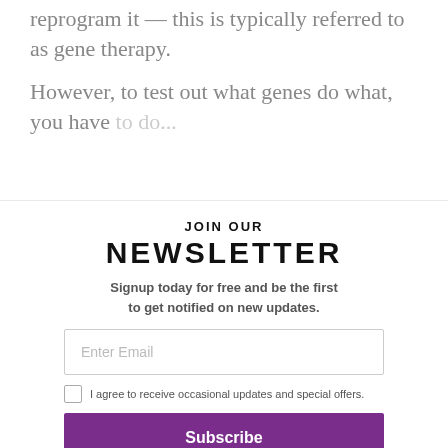reprogram it — this is typically referred to as gene therapy.
However, to test out what genes do what, you have to do...
JOIN OUR NEWSLETTER
Signup today for free and be the first to get notified on new updates.
Enter Email
I agree to receive occasional updates and special offers.
Subscribe
Privacy Policy
No thanks